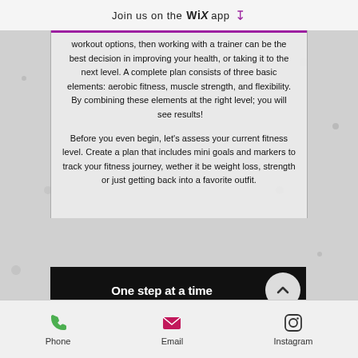Join us on the WiX app
workout options, then working with a trainer can be the best decision in improving your health, or taking it to the next level. A complete plan consists of three basic elements: aerobic fitness, muscle strength, and flexibility. By combining these elements at the right level; you will see results!
Before you even begin, let's assess your current fitness level. Create a plan that includes mini goals and markers to track your fitness journey, wether it be weight loss, strength or just getting back into a favorite outfit.
One step at a time
Phone  Email  Instagram